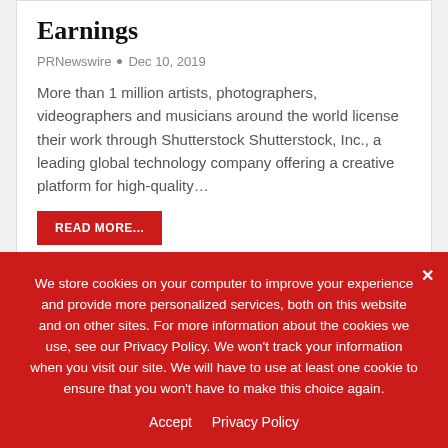Earnings
PRNewswire  •  Dec 10, 2019
More than 1 million artists, photographers, videographers and musicians around the world license their work through Shutterstock Shutterstock, Inc., a leading global technology company offering a creative platform for high-quality…
READ MORE...
Popular Posts
We store cookies on your computer to improve your experience and provide more personalized services, both on this website and on other sites. For more information about the cookies we use, see our Privacy Policy. We won't track your information when you visit our site. We will have to use at least one cookie to ensure that you won't have to make this choice again.
Accept   Privacy Policy